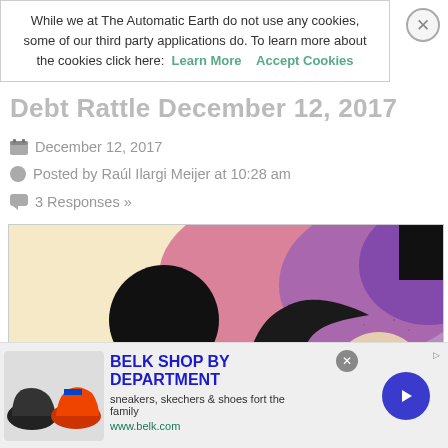While we at The Automatic Earth do not use any cookies, some of our third party applications do. To learn more about the cookies click here: Learn More  Accept Cookies
Debt Rattle December 12, 2017
December 12, 2017
Posted by Raúl Ilargi Meijer at 10:28 am
3 Responses »
[Figure (illustration): Abstract expressionist painting with geometric shapes including black circle, yellow triangles, red triangle, pink/purple organic curved forms, and a pale circle, against a cream/beige background with scattered dots]
BELK SHOP BY DEPARTMENT
sneakers, skechers & shoes fort the family
www.belk.com